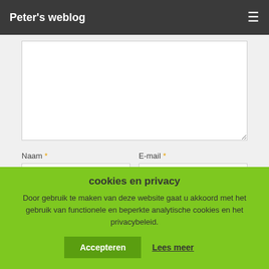Peter's weblog
[Figure (screenshot): Web form with textarea, Naam and E-mail fields, Site field, and a save checkbox]
cookies en privacy
Door gebruik te maken van deze website gaat u akkoord met het gebruik van functionele en beperkte analytische cookies en het privacybeleid.
Accepteren
Lees meer